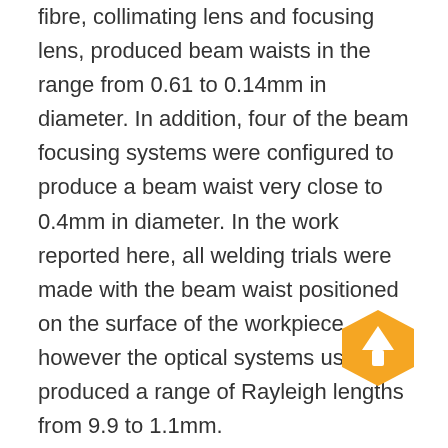fibre, collimating lens and focusing lens, produced beam waists in the range from 0.61 to 0.14mm in diameter. In addition, four of the beam focusing systems were configured to produce a beam waist very close to 0.4mm in diameter. In the work reported here, all welding trials were made with the beam waist positioned on the surface of the workpiece, however the optical systems used produced a range of Rayleigh lengths from 9.9 to 1.1mm.

Promotec and Primes laser beam analysers were used to measure the beam caustic in the region of the beam focus. In one series of measurements, both the Promotec and the Primes units were used for the
[Figure (other): Orange hexagon shaped button with an upward arrow icon overlaid on the text]